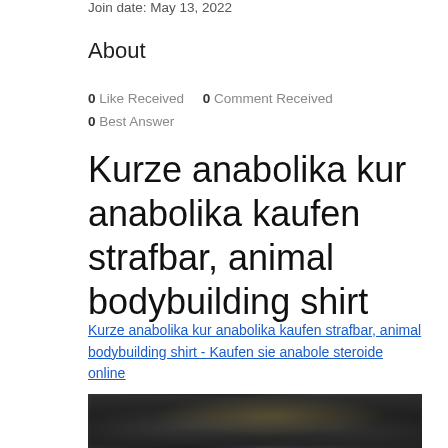Join date: May 13, 2022
About
0 Like Received   0 Comment Received
0 Best Answer
Kurze anabolika kur anabolika kaufen strafbar, animal bodybuilding shirt
Kurze anabolika kur anabolika kaufen strafbar, animal bodybuilding shirt - Kaufen sie anabole steroide online
[Figure (photo): Blurred dark photograph, partially visible at bottom of page]